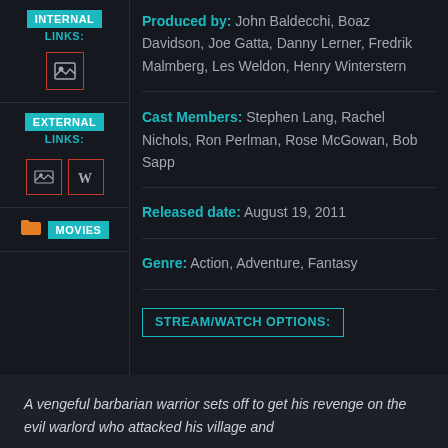INTERNAL LINKS:
[Figure (illustration): Image icon with red border in sidebar]
EXTERNAL LINKS:
[Figure (illustration): IMDb and Wikipedia icons with red borders in sidebar]
MOVIES
Produced by: John Baldecchi, Boaz Davidson, Joe Gatta, Danny Lerner, Fredrik Malmberg, Les Weldon, Henry Winterstern
Cast Members: Stephen Lang, Rachel Nichols, Ron Perlman, Rose McGowan, Bob Sapp
Released date: August 19, 2011
Genre: Action, Adventure, Fantasy
STREAM/WATCH OPTIONS:
A vengeful barbarian warrior sets off to get his revenge on the evil warlord who attacked his village and